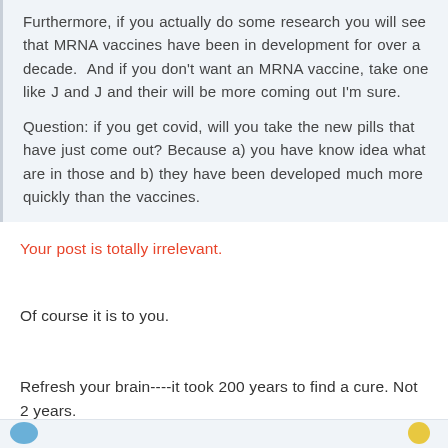Furthermore, if you actually do some research you will see that MRNA vaccines have been in development for over a decade.  And if you don't want an MRNA vaccine, take one like J and J and their will be more coming out I'm sure.

Question: if you get covid, will you take the new pills that have just come out? Because a) you have know idea what are in those and b) they have been developed much more quickly than the vaccines.
Your post is totally irrelevant.
Of course it is to you.
Refresh your brain----it took 200 years to find a cure. Not 2 years.